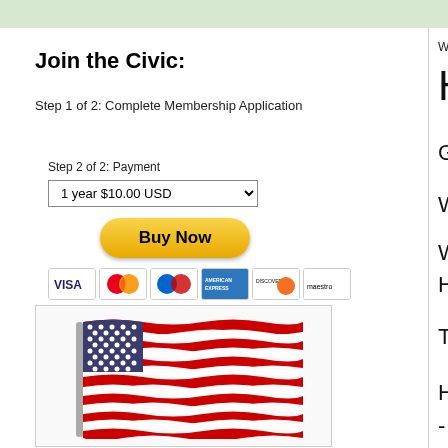Join the Civic:
Step 1 of 2: Complete Membership Application
Step 2 of 2: Payment
1 year $10.00 USD
[Figure (infographic): Buy Now PayPal button with payment card icons (Visa, Mastercard, Discover, American Express, Maestro)]
[Figure (illustration): Waving American flag illustration with flagpole]
Wedn
Ha
Goo
Wel
Wor
Hall
This
How
- Or
- No